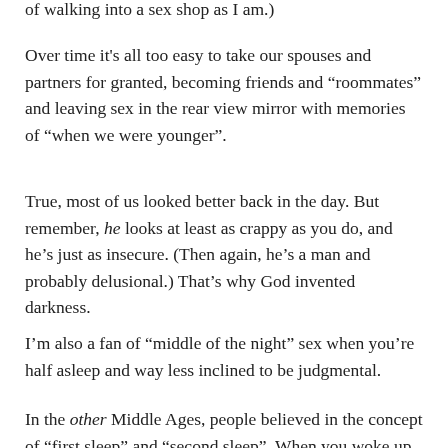of walking into a sex shop as I am.)
Over time it's all too easy to take our spouses and partners for granted, becoming friends and “roommates” and leaving sex in the rear view mirror with memories of “when we were younger”.
True, most of us looked better back in the day. But remember, he looks at least as crappy as you do, and he’s just as insecure. (Then again, he’s a man and probably delusional.) That’s why God invented darkness.
I’m also a fan of “middle of the night” sex when you’re half asleep and way less inclined to be judgmental.
In the other Middle Ages, people believed in the concept of “first sleep” and “second sleep”. When you woke up from deep sleep you’d spend an hour or so writing, praying, having sex or even visiting neighbors before going back to bed. I bet